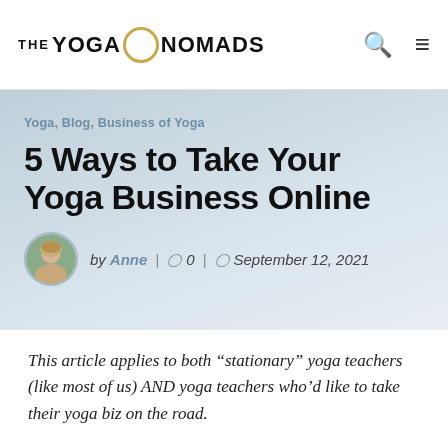THE YOGA NOMADS
Yoga, Blog, Business of Yoga
5 Ways to Take Your Yoga Business Online
by Anne | 0 | September 12, 2021
This article applies to both “stationary” yoga teachers (like most of us) AND yoga teachers who’d like to take their yoga biz on the road.